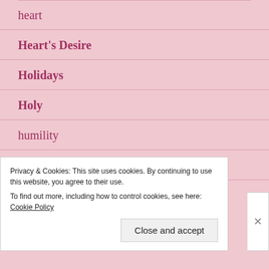heart
Heart's Desire
Holidays
Holy
humility
hypocrites
Privacy & Cookies: This site uses cookies. By continuing to use this website, you agree to their use.
To find out more, including how to control cookies, see here: Cookie Policy
Close and accept